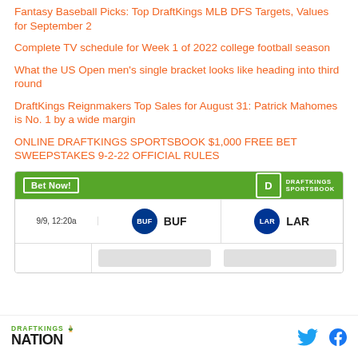Fantasy Baseball Picks: Top DraftKings MLB DFS Targets, Values for September 2
Complete TV schedule for Week 1 of 2022 college football season
What the US Open men's single bracket looks like heading into third round
DraftKings Reignmakers Top Sales for August 31: Patrick Mahomes is No. 1 by a wide margin
ONLINE DRAFTKINGS SPORTSBOOK $1,000 FREE BET SWEEPSTAKES 9-2-22 OFFICIAL RULES
[Figure (screenshot): DraftKings Sportsbook widget showing a matchup: 9/9, 12:20a — BUF vs LAR, with Bet Now button and DraftKings Sportsbook logo]
DRAFTKINGS NATION logo with Twitter and Facebook social media icons